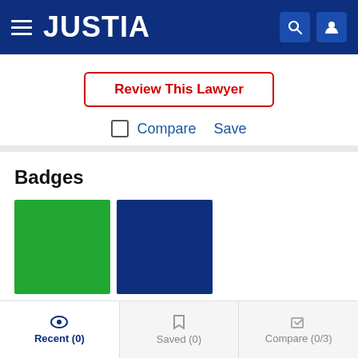[Figure (logo): Justia website header with hamburger menu, JUSTIA logo in white on dark blue background, search icon and user icon on the right]
Review This Lawyer
Compare  Save
Badges
[Figure (illustration): Two badge squares: one green and one dark blue]
Biography
Recent (0)  Saved (0)  Compare (0/3)